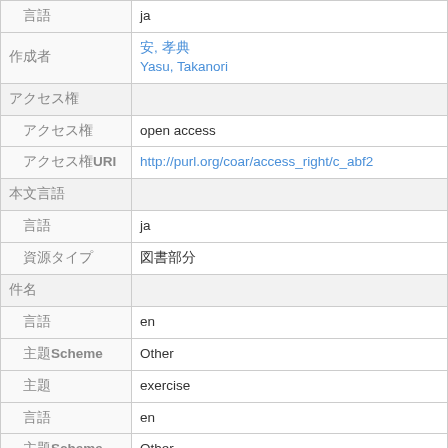| 言語 | ja |
| 作成者 | 安, 孝典
Yasu, Takanori |
| アクセス権 |  |
| アクセス権 | open access |
| アクセス権URI | http://purl.org/coar/access_right/c_abf2 |
| 本文言語 |  |
| 言語 | ja |
| 資源タイプ | 図書部分 |
| 件名 |  |
| 言語 | en |
| 主題Scheme | Other |
| 主題 | exercise |
| 言語 | en |
| 主題Scheme | Other |
| 主題 | intermittent |
| 言語 | en |
| 主題Scheme | Other |